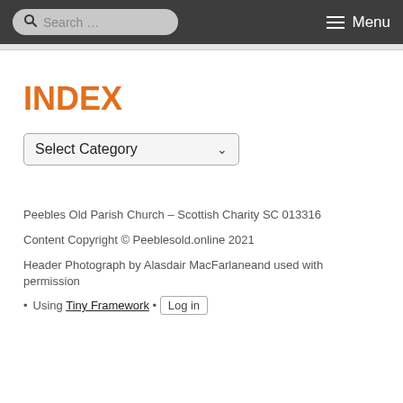Search ... Menu
INDEX
[Figure (screenshot): A dropdown select box labelled 'Select Category' with a chevron arrow]
Peebles Old Parish Church – Scottish Charity SC 013316
Content Copyright © Peeblesold.online 2021
Header Photograph by Alasdair MacFarlaneand used with permission
Using Tiny Framework • Log in